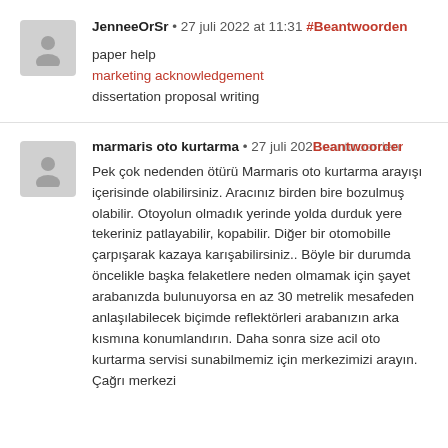JenneeOrSr • 27 juli 2022 at 11:31 #Beantwoorden
paper help
marketing acknowledgement
dissertation proposal writing
marmaris oto kurtarma • 27 juli 2022 Beantwoorden
Pek çok nedenden ötürü Marmaris oto kurtarma arayışı içerisinde olabilirsiniz. Aracınız birden bire bozulmuş olabilir. Otoyolun olmadık yerinde yolda durduk yere tekeriniz patlayabilir, kopabilir. Diğer bir otomobille çarpışarak kazaya karışabilirsiniz.. Böyle bir durumda öncelikle başka felaketlere neden olmamak için şayet arabanızda bulunuyorsa en az 30 metrelik mesafeden anlaşılabilecek biçimde reflektörleri arabanızın arka kısmına konumlandırın. Daha sonra size acil oto kurtarma servisi sunabilmemiz için merkezimizi arayın. Çağrı merkezi